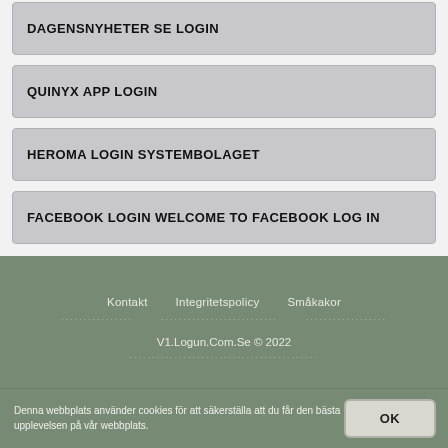DAGENSNYHETER SE LOGIN
QUINYX APP LOGIN
HEROMA LOGIN SYSTEMBOLAGET
FACEBOOK LOGIN WELCOME TO FACEBOOK LOG IN
Kontakt   Integritetspolicy   Småkakor
V1.Logun.Com.Se © 2022
Denna webbplats använder cookies för att säkerställa att du får den bästa upplevelsen på vår webbplats.